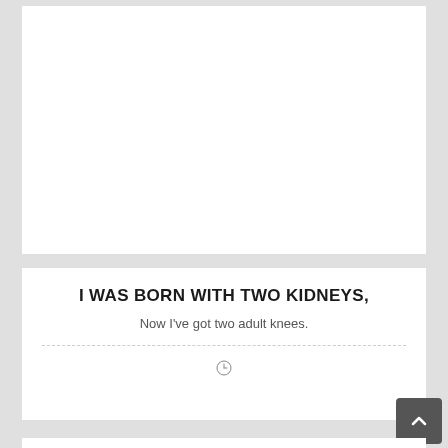[Figure (other): Large white rectangular card area, mostly empty/blank white space]
I WAS BORN WITH TWO KIDNEYS,
Now I've got two adult knees.
[Figure (other): Small clock/time icon, circular with clock hands]